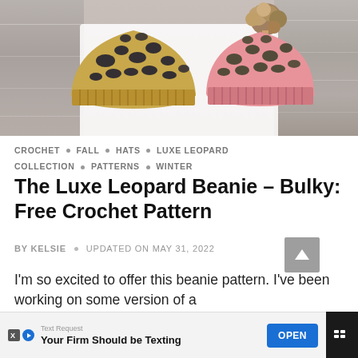[Figure (photo): Two crocheted beanies with leopard print pattern. Left hat is tan/gold with black spots, right hat is pink with dark spots and a faux fur pom pom on top. Wood plank background.]
CROCHET • FALL • HATS • LUXE LEOPARD COLLECTION • PATTERNS • WINTER
The Luxe Leopard Beanie – Bulky: Free Crochet Pattern
BY KELSIE • UPDATED ON MAY 31, 2022
I'm so excited to offer this beanie pattern. I've been working on some version of a
Text Request
Your Firm Should be Texting
OPEN